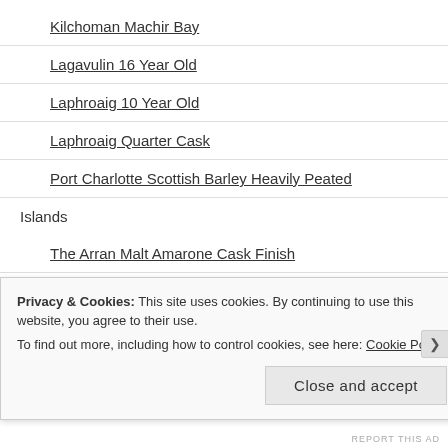Kilchoman Machir Bay
Lagavulin 16 Year Old
Laphroaig 10 Year Old
Laphroaig Quarter Cask
Port Charlotte Scottish Barley Heavily Peated
Islands
The Arran Malt Amarone Cask Finish
Highland Park 12 Year Old
Highland Park 18 Year Old
Highland Park Svein
Privacy & Cookies: This site uses cookies. By continuing to use this website, you agree to their use.
To find out more, including how to control cookies, see here: Cookie Policy
Close and accept